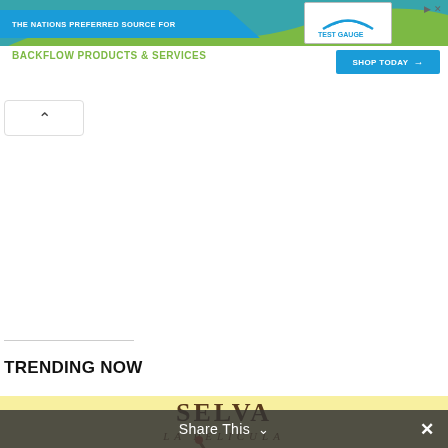[Figure (screenshot): Advertisement banner for Test Gauge Inc. featuring 'THE NATIONS PREFERRED SOURCE FOR BACKFLOW PRODUCTS & SERVICES' with a 'SHOP TODAY' button, green and blue wave design]
[Figure (screenshot): Collapse/up-arrow button UI element]
TRENDING NOW
[Figure (illustration): Animated movie poster for 'SELVA LA PELICULA' on yellow background with cartoon characters including a drum-playing creature]
Share This